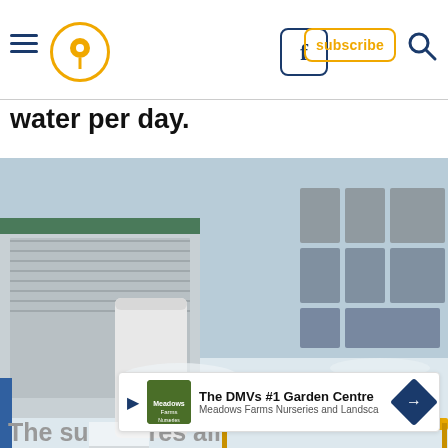Navigation bar with hamburger menu, location pin icon, Facebook button, subscribe button, search icon
water per day.
[Figure (photo): Aerial view of an NSA data center facility in winter, showing large industrial tanks, cooling units, and storage containers arranged outside a building covered in snow. Labeled NSA.gov.]
[Figure (other): Advertisement for The DMVs #1 Garden Centre - Meadows Farms Nurseries and Landscape]
The su[percomputer that sto]res all this data is called "Cascade," and it's capable of computing 100,000 trillion calculations per